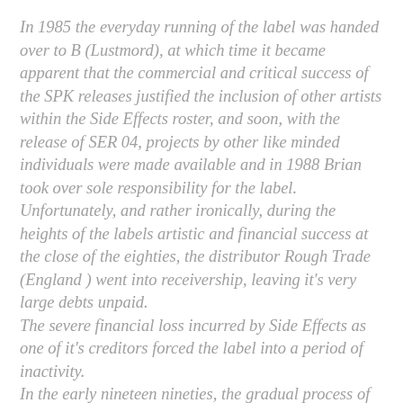In 1985 the everyday running of the label was handed over to B (Lustmord), at which time it became apparent that the commercial and critical success of the SPK releases justified the inclusion of other artists within the Side Effects roster, and soon, with the release of SER 04, projects by other like minded individuals were made available and in 1988 Brian took over sole responsibility for the label. Unfortunately, and rather ironically, during the heights of the labels artistic and financial success at the close of the eighties, the distributor Rough Trade (England ) went into receivership, leaving it's very large debts unpaid. The severe financial loss incurred by Side Effects as one of it's creditors forced the label into a period of inactivity. In the early nineteen nineties, the gradual process of re-birth was initiated, and a few releases were issued with the help and support of World Serpent Distribution and in 1993 the label re-